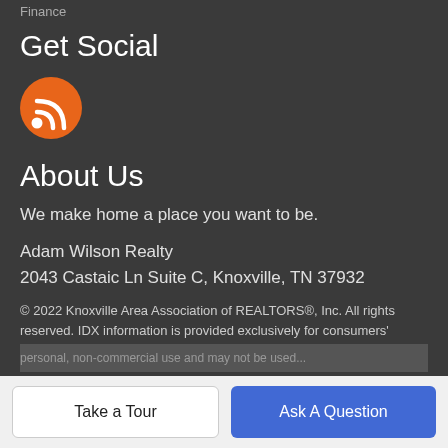Finance
Get Social
[Figure (logo): Orange circle with white RSS feed icon]
About Us
We make home a place you want to be.
Adam Wilson Realty
2043 Castaic Ln Suite C, Knoxville, TN 37932
📞 865-622-5171
© 2022 Knoxville Area Association of REALTORS®, Inc. All rights reserved. IDX information is provided exclusively for consumers'
Take a Tour
Ask A Question